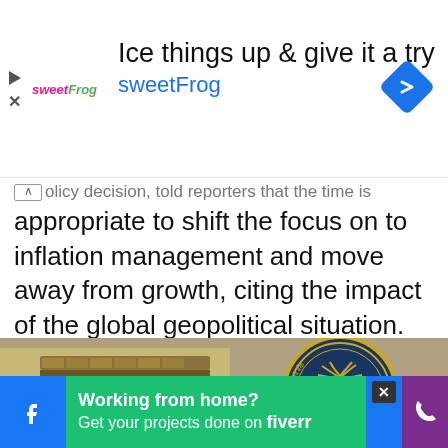[Figure (screenshot): SweetFrog advertisement banner with logo, headline 'Ice things up & give it a try', subheadline 'sweetFrog', navigation arrow icon, play and close icons on left]
...olicy decision, told reporters that the time is appropriate to shift the focus on to inflation management and move away from growth, citing the impact of the global geopolitical situation.
[Figure (photo): Photograph of the Reserve Bank of India building entrance with the RBI emblem seal showing a lion and palm tree on a blue background with gold detailing and text in Hindi and English]
[Figure (screenshot): Bottom advertisement bar: Facebook icon on blue background, Fiverr ad 'Working from home? Get your projects done on fiverr' on green background, close X button, phone icon on purple background]